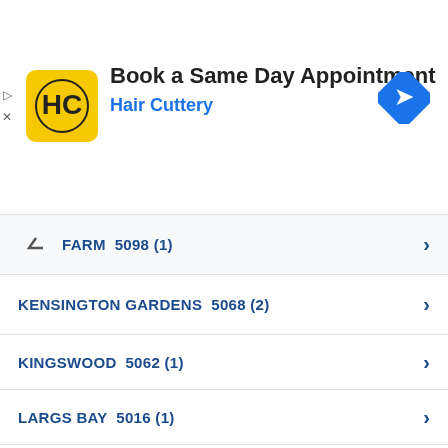[Figure (screenshot): Hair Cuttery advertisement banner with logo, title 'Book a Same Day Appointment', subtitle 'Hair Cuttery', and navigation arrow icon]
FARM  5098 (1)
KENSINGTON GARDENS  5068 (2)
KINGSWOOD  5062 (1)
LARGS BAY  5016 (1)
LEABROOK  5068 (1)
LOCKLEYS  5032 (1)
MALVERN  5061 (2)